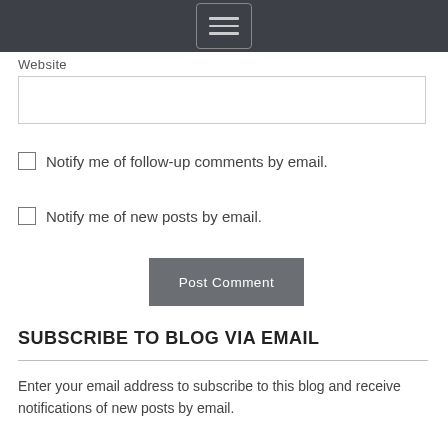[Figure (screenshot): Navigation bar with hamburger menu icon on dark gray background]
Website
[Figure (screenshot): Empty website input text field with border]
Notify me of follow-up comments by email.
Notify me of new posts by email.
[Figure (screenshot): Post Comment button in gray]
SUBSCRIBE TO BLOG VIA EMAIL
Enter your email address to subscribe to this blog and receive notifications of new posts by email.